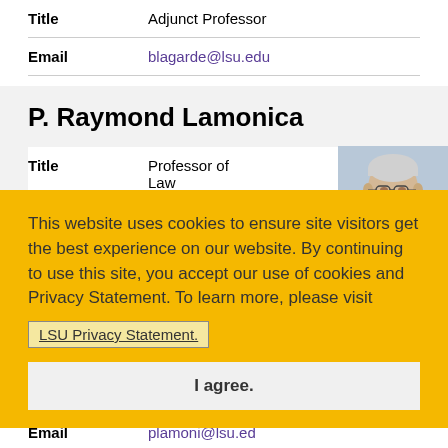| Field | Value |
| --- | --- |
| Title | Adjunct Professor |
| Email | blagarde@lsu.edu |
P. Raymond Lamonica
| Field | Value |
| --- | --- |
| Title | Professor of Law |
[Figure (photo): Photo of P. Raymond Lamonica, an elderly man in a grey suit at a table with a microphone]
This website uses cookies to ensure site visitors get the best experience on our website. By continuing to use this site, you accept our use of cookies and Privacy Statement. To learn more, please visit LSU Privacy Statement.
I agree.
| Field | Value |
| --- | --- |
| Email | plamoni@lsu.ed |